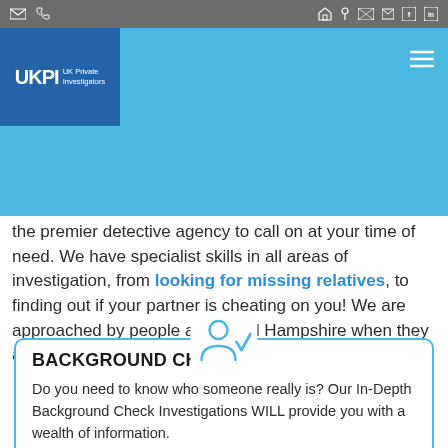[Figure (screenshot): Website navigation bar with icons on dark grey background]
[Figure (logo): UKPI UK Private Investigators logo on blue background with navigation]
the premier detective agency to call on at your time of need. We have specialist skills in all areas of investigation, from looking for missing relatives, to finding out if your partner is cheating on you! We are approached by people all around Hampshire when they are looking for a professional private detective agency.
BACKGROUND CHECKS
Do you need to know who someone really is? Our In-Depth Background Check Investigations WILL provide you with a wealth of information.